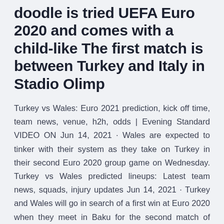doodle is tried UEFA Euro 2020 and comes with a child-like The first match is between Turkey and Italy in Stadio Olimp
Turkey vs Wales: Euro 2021 prediction, kick off time, team news, venue, h2h, odds | Evening Standard VIDEO ON Jun 14, 2021 · Wales are expected to tinker with their system as they take on Turkey in their second Euro 2020 group game on Wednesday. Turkey vs Wales predicted lineups: Latest team news, squads, injury updates Jun 14, 2021 · Turkey and Wales will go in search of a first win at Euro 2020 when they meet in Baku for the second match of Group A on Wednesday at 5pm (UK time). Turkey marked the start of the tournament will a curtain-raising capitulation, losing 3-0